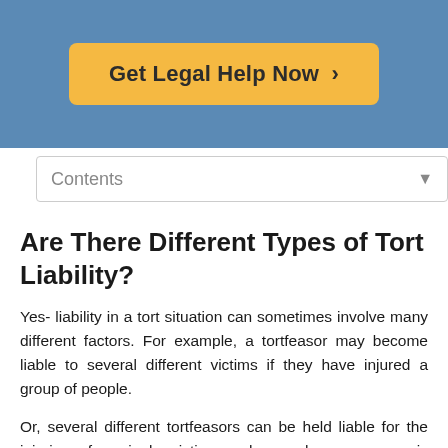[Figure (other): Yellow call-to-action button reading 'Get Legal Help Now >' on a blue background header]
Contents
Are There Different Types of Tort Liability?
Yes- liability in a tort situation can sometimes involve many different factors. For example, a tortfeasor may become liable to several different victims if they have injured a group of people.
Or, several different tortfeasors can be held liable for the injuries of a single victim, such as when a person is attacked by a group. It is even possible for the victim themselves to incur liability, for example if they contributed to their own injury apart from the